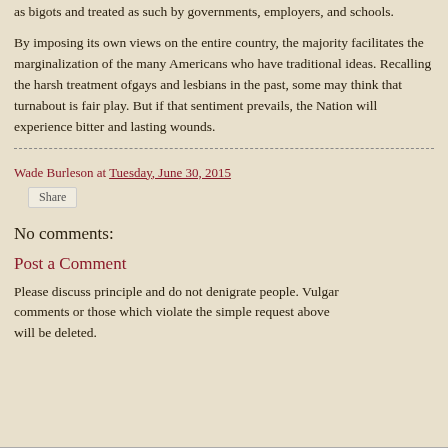as bigots and treated as such by governments, employers, and schools.
By imposing its own views on the entire country, the majority facilitates the marginalization of the many Americans who have traditional ideas. Recalling the harsh treatment ofgays and lesbians in the past, some may think that turnabout is fair play. But if that sentiment prevails, the Nation will experience bitter and lasting wounds.
Wade Burleson at Tuesday, June 30, 2015
Share
No comments:
Post a Comment
Please discuss principle and do not denigrate people. Vulgar comments or those which violate the simple request above will be deleted.